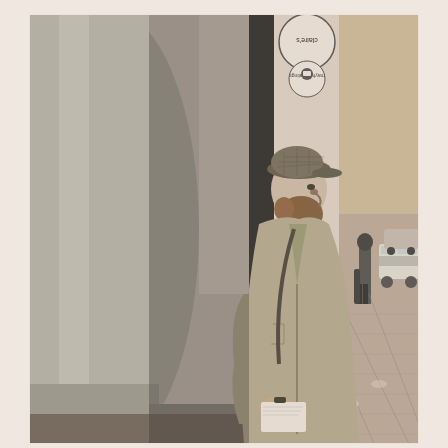[Figure (photo): Black and white street photograph of a bearded man wearing a flat cap and long trench coat, leaning against a large stone column. He holds papers in his hands and looks to the right. In the background, a street scene is visible with a person standing near a white van, parked cars, and a paved sidewalk. A circular sign reading 'claire's' is visible at the top of the image, upside down.]